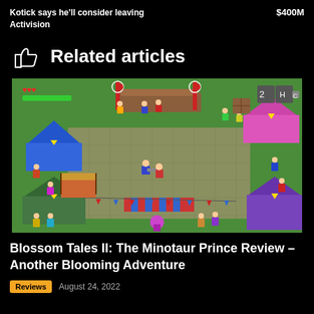Kotick says he'll consider leaving Activision	$400M
Related articles
[Figure (screenshot): Top-down pixel art game screenshot showing a carnival/faire scene with colorful tents, characters, and a stone arena in the center. Two characters appear to be fighting in the center of the arena.]
Blossom Tales II: The Minotaur Prince Review – Another Blooming Adventure
Reviews   August 24, 2022